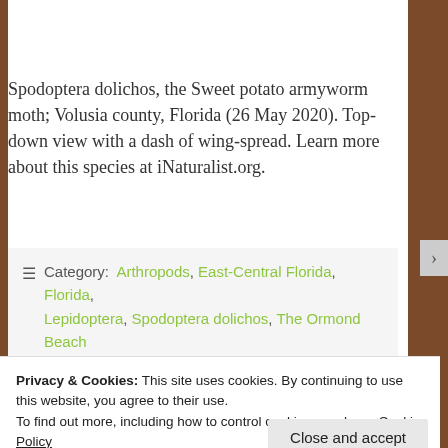[Figure (photo): Close-up photograph of a moth (Spodoptera dolichos) on a green leaf surface, top-down view. Watermark reads: Janson Jones lionidensis.com]
Spodoptera dolichos, the Sweet potato armyworm moth; Volusia county, Florida (26 May 2020). Top-down view with a dash of wing-spread. Learn more about this species at iNaturalist.org.
Category: Arthropods, East-Central Florida, Florida, Lepidoptera, Spodoptera dolichos, The Ormond Beach
Privacy & Cookies: This site uses cookies. By continuing to use this website, you agree to their use.
To find out more, including how to control cookies, see here: Cookie Policy